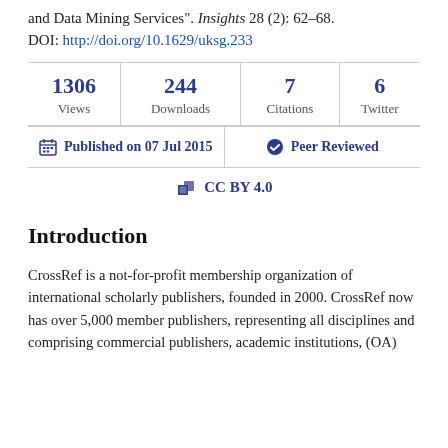and Data Mining Services". Insights 28 (2): 62–68. DOI: http://doi.org/10.1629/uksg.233
| Views | Downloads | Citations | Twitter |
| --- | --- | --- | --- |
| 1306 | 244 | 7 | 6 |
| Published on 07 Jul 2015 | Peer Reviewed |
| --- | --- |
CC BY 4.0
Introduction
CrossRef is a not-for-profit membership organization of international scholarly publishers, founded in 2000. CrossRef now has over 5,000 member publishers, representing all disciplines and comprising commercial publishers, academic institutions, ​(OA)​